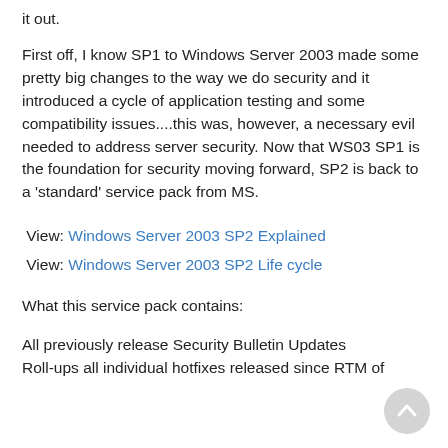it out.
First off, I know SP1 to Windows Server 2003 made some pretty big changes to the way we do security and it introduced a cycle of application testing and some compatibility issues....this was, however, a necessary evil needed to address server security. Now that WS03 SP1 is the foundation for security moving forward, SP2 is back to a 'standard' service pack from MS.
View: Windows Server 2003 SP2 Explained
View: Windows Server 2003 SP2 Life cycle
What this service pack contains:
All previously release Security Bulletin Updates
Roll-ups all individual hotfixes released since RTM of